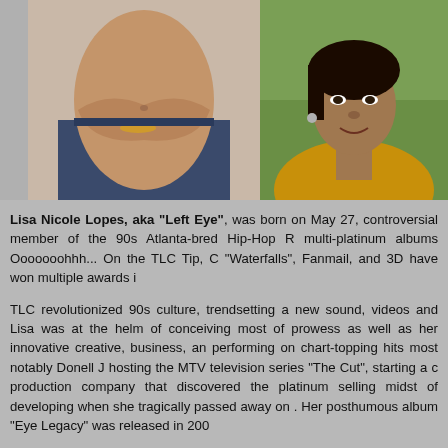[Figure (photo): Two photos side by side at top: left photo shows a woman's torso with arms crossed wearing low-rise jeans; right photo shows a young woman's face and upper body outdoors.]
Lisa Nicole Lopes, aka "Left Eye", was born on May 27, controversial member of the 90s Atlanta-bred Hip-Hop R multi-platinum albums Ooooooohhh... On the TLC Tip, C "Waterfalls", Fanmail, and 3D have won multiple awards i
TLC revolutionized 90s culture, trendsetting a new sound, videos and Lisa was at the helm of conceiving most of prowess as well as her innovative creative, business, an performing on chart-topping hits most notably Donell J hosting the MTV television series "The Cut", starting a c production company that discovered the platinum selling midst of developing when she tragically passed away on . Her posthumous album "Eye Legacy" was released in 200
Along with her many contributions, Lisa ventured alon